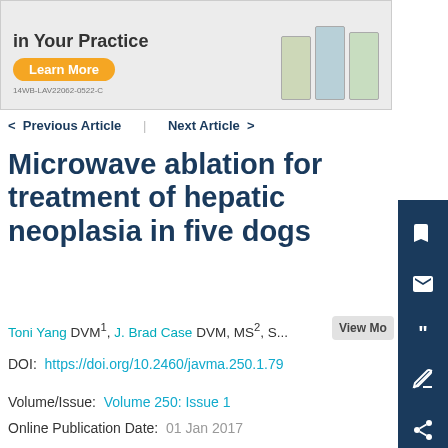[Figure (screenshot): Advertisement banner for LAVERDIA product - 'in Your Practice' with Learn More button and product packaging images. Code: 14WB-LAV22062-0522-C]
< Previous Article   Next Article >
Microwave ablation for treatment of hepatic neoplasia in five dogs
Toni Yang DVM1, J. Brad Case DVM, MS2, S...
DOI: https://doi.org/10.2460/javma.250.1.79
Volume/Issue: Volume 250: Issue 1
Online Publication Date: 01 Jan 2017